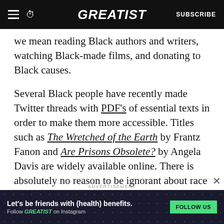GREATIST | SUBSCRIBE
we mean reading Black authors and writers, watching Black-made films, and donating to Black causes.
Several Black people have recently made Twitter threads with PDF's of essential texts in order to make them more accessible. Titles such as The Wretched of the Earth by Frantz Fanon and Are Prisons Obsolete? by Angela Davis are widely available online. There is absolutely no reason to be ignorant about race relations in America. All of the information is right in front of you.
ADVERTISEMENT
[Figure (other): Advertisement banner: Let's be friends with (health) benefits. Follow GREATIST on Instagram. FOLLOW US button.]